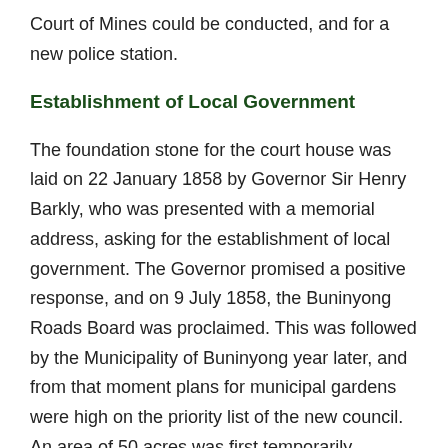Court of Mines could be conducted, and for a new police station.
Establishment of Local Government
The foundation stone for the court house was laid on 22 January 1858 by Governor Sir Henry Barkly, who was presented with a memorial address, asking for the establishment of local government. The Governor promised a positive response, and on 9 July 1858, the Buninyong Roads Board was proclaimed. This was followed by the Municipality of Buninyong year later, and from that moment plans for municipal gardens were high on the priority list of the new council. An area of 50 acres was first temporarily reserved for gardens purposes on 13 February 1860. This was officially gazetted on 12 November 1861.
One of the most pressing concerns of the new municipality